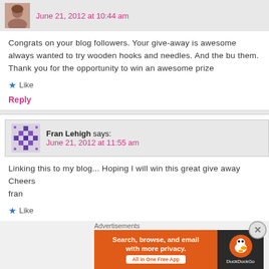June 21, 2012 at 10:44 am
Congrats on your blog followers. Your give-away is awesome always wanted to try wooden hooks and needles. And the bu them. Thank you for the opportunity to win an awesome prize
Like
Reply
Fran Lehigh says:
June 21, 2012 at 11:55 am
Linking this to my blog... Hoping I will win this great give away Cheers
fran
Like
Reply
Advertisements
[Figure (other): DuckDuckGo advertisement banner - Search, browse, and email with more privacy. All in One Free App]